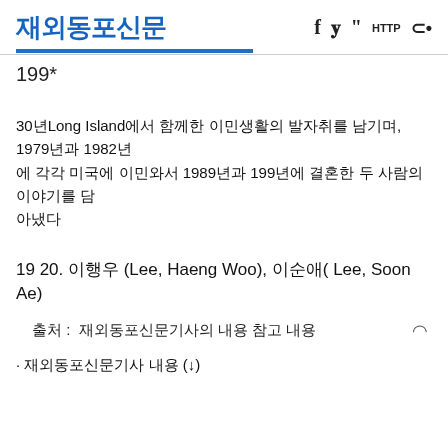재외동포신문
199*
30년Long Island에서 함께한 이민생활의 발자취를 남기며, 1979년과 1982년에 각각 미국에 이민와서 1989년과 199년에 결혼한 두 사람의 이야기
19 20. 이행우 (Lee, Haeng Woo), 이순애( Lee, Soon Ae)
출처 : 재외동포신문 기사 내용 참고
- 재외동포신문 내용 (↓)